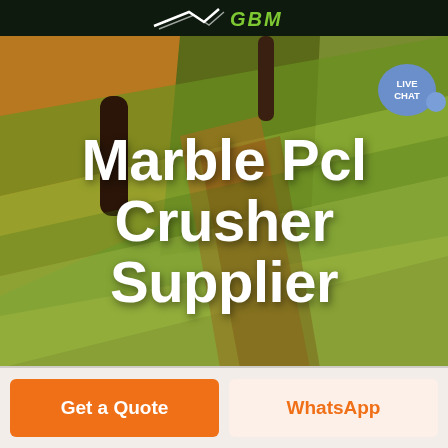GBM
[Figure (screenshot): Website screenshot showing a green aerial landscape with two trees as background hero image]
Marble Pcl Crusher Supplier
LIVE CHAT
Get a Quote
WhatsApp